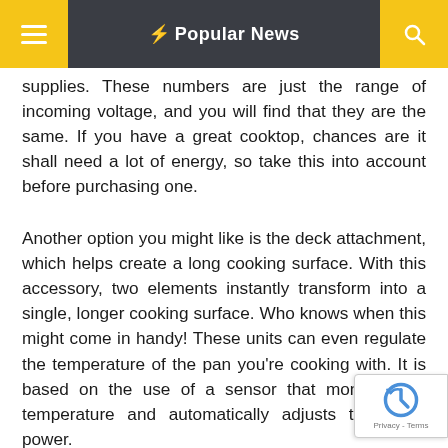☰  ⚡ Popular News  🔍
supplies. These numbers are just the range of incoming voltage, and you will find that they are the same. If you have a great cooktop, chances are it shall need a lot of energy, so take this into account before purchasing one.
Another option you might like is the deck attachment, which helps create a long cooking surface. With this accessory, two elements instantly transform into a single, longer cooking surface. Who knows when this might come in handy! These units can even regulate the temperature of the pan you're cooking with. It is based on the use of a sensor that monitors the temperature and automatically adjusts the hob's power.